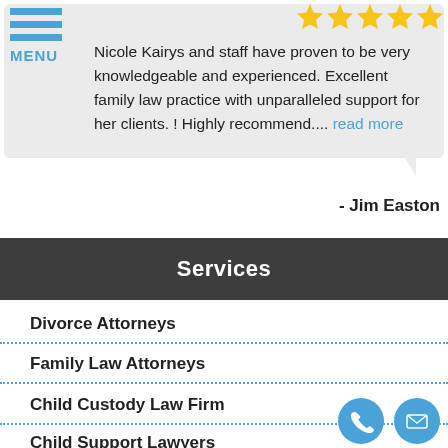MENU
Nicole Kairys and staff have proven to be very knowledgeable and experienced. Excellent family law practice with unparalleled support for her clients. ! Highly recommend.... read more
- Jim Easton
Services
Divorce Attorneys
Family Law Attorneys
Child Custody Law Firm
Child Support Lawyers